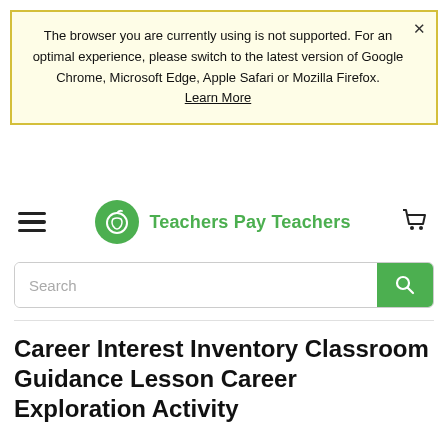The browser you are currently using is not supported. For an optimal experience, please switch to the latest version of Google Chrome, Microsoft Edge, Apple Safari or Mozilla Firefox. Learn More
[Figure (logo): Teachers Pay Teachers logo with green apple icon and green text 'Teachers Pay Teachers', hamburger menu icon on left, shopping cart icon on right]
Search
Career Interest Inventory Classroom Guidance Lesson Career Exploration Activity